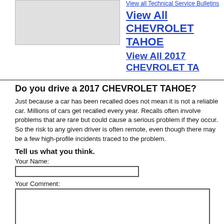[Figure (photo): Gray placeholder image box]
View all Technical Service Bulletins
View All CHEVROLET TAHOE
View All 2017 CHEVROLET TA
Do you drive a 2017 CHEVROLET TAHOE?
Just because a car has been recalled does not mean it is not a reliable car. Millions of cars get recalled every year. Recalls often involve problems that are rare but could cause a serious problem if they occur. So the risk to any given driver is often remote, even though there may be a few high-profile incidents traced to the problem.
Tell us what you think.
Your Name:
Your Comment: